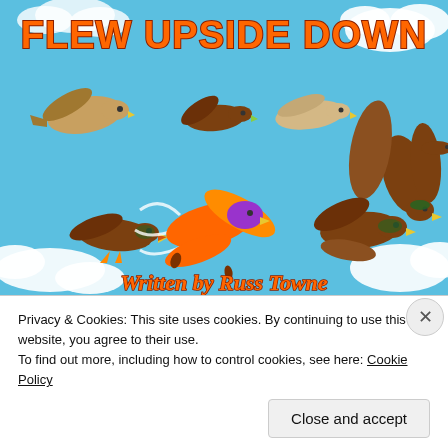[Figure (illustration): Cartoon book cover illustration showing multiple cartoon ducks flying through a blue sky with clouds. Title text at top reads 'FLEW UPSIDE DOWN' in large orange outlined letters. An orange duck in center appears to be flying erratically. Author text at bottom reads 'Written by Russ Towne'. Various brown/tan mallard ducks flying around. Light blue sky background with white clouds.]
Privacy & Cookies: This site uses cookies. By continuing to use this website, you agree to their use.
To find out more, including how to control cookies, see here: Cookie Policy
Close and accept